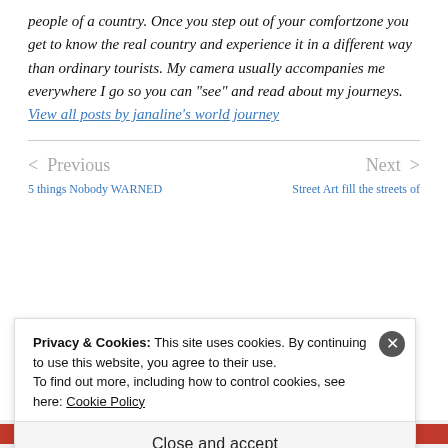people of a country. Once you step out of your comfortzone you get to know the real country and experience it in a different way than ordinary tourists. My camera usually accompanies me everywhere I go so you can "see" and read about my journeys. View all posts by janaline's world journey
< Previous   Next >
5 things Nobody WARNED   Street Art fill the streets of
Privacy & Cookies: This site uses cookies. By continuing to use this website, you agree to their use. To find out more, including how to control cookies, see here: Cookie Policy
Close and accept